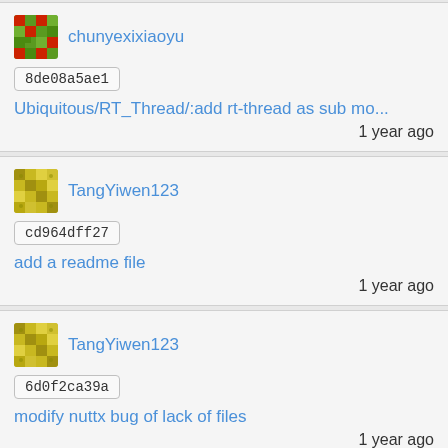[Figure (other): User avatar for chunyexixiaoyu - green and red mosaic pattern icon]
chunyexixiaoyu
8de08a5ae1
Ubiquitous/RT_Thread/:add rt-thread as sub mo...
1 year ago
[Figure (other): User avatar for TangYiwen123 - yellow/olive mosaic pattern icon]
TangYiwen123
cd964dff27
add a readme file
1 year ago
[Figure (other): User avatar for TangYiwen123 - yellow/olive mosaic pattern icon]
TangYiwen123
6d0f2ca39a
modify nuttx bug of lack of files
1 year ago